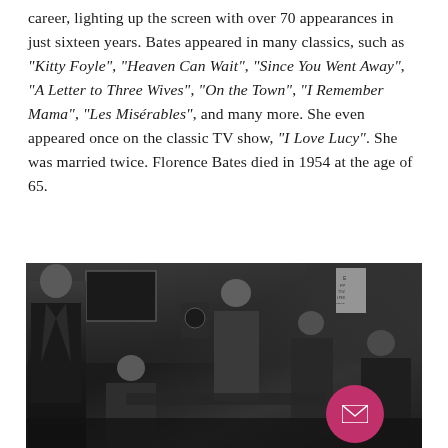career, lighting up the screen with over 70 appearances in just sixteen years. Bates appeared in many classics, such as "Kitty Foyle", "Heaven Can Wait", "Since You Went Away", "A Letter to Three Wives", "On the Town", "I Remember Mama", "Les Misérables", and many more. She even appeared once on the classic TV show, "I Love Lucy". She was married twice. Florence Bates died in 1954 at the age of 65.
[Figure (photo): Black and white film still showing several men in a scene, appearing to be from a classic Hollywood movie. One man stands on the left in a coat, others are grouped and appear to be in discussion or confrontation. An eye chart is visible in the upper right background. UI overlay buttons visible: a white square with up arrow and a pink/magenta circular envelope button.]